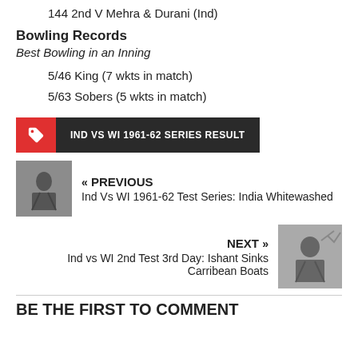144 2nd V Mehra & Durani (Ind)
Bowling Records
Best Bowling in an Inning
5/46 King (7 wkts in match)
5/63 Sobers (5 wkts in match)
IND VS WI 1961-62 SERIES RESULT
« PREVIOUS
Ind Vs WI 1961-62 Test Series: India Whitewashed
NEXT »
Ind vs WI 2nd Test 3rd Day: Ishant Sinks Carribean Boats
BE THE FIRST TO COMMENT